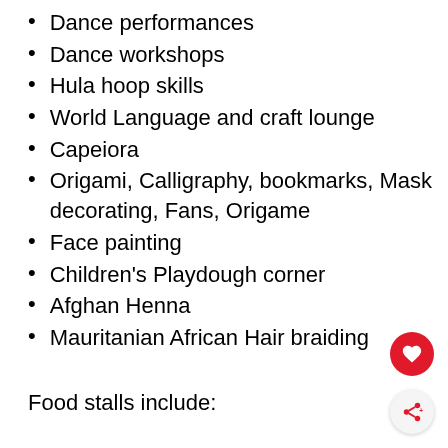Dance performances
Dance workshops
Hula hoop skills
World Language and craft lounge
Capeiora
Origami, Calligraphy, bookmarks, Mask decorating, Fans, Origame
Face painting
Children's Playdough corner
Afghan Henna
Mauritanian African Hair braiding
Food stalls include: